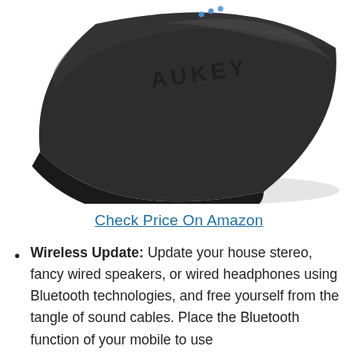[Figure (photo): Photo of a black AUKEY Bluetooth receiver device with rounded corners, viewed from a top-angle perspective. The device has the AUKEY logo on top and three small blue LED lights near the top edge.]
Check Price On Amazon
Wireless Update: Update your house stereo, fancy wired speakers, or wired headphones using Bluetooth technologies, and free yourself from the tangle of sound cables. Place the Bluetooth function of your mobile to use